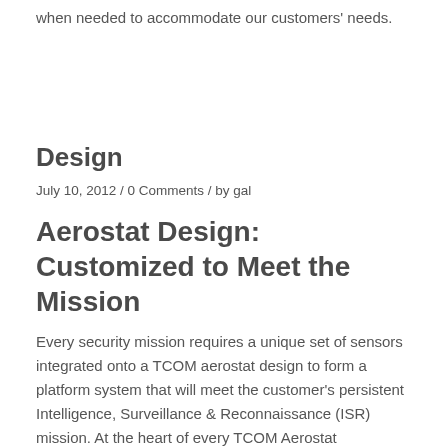when needed to accommodate our customers' needs.
Design
July 10, 2012 / 0 Comments / by gal
Aerostat Design: Customized to Meet the Mission
Every security mission requires a unique set of sensors integrated onto a TCOM aerostat design to form a platform system that will meet the customer's persistent Intelligence, Surveillance & Reconnaissance (ISR) mission. At the heart of every TCOM Aerostat Surveillance system lies a proven design process that effectively blends customer needs and superior